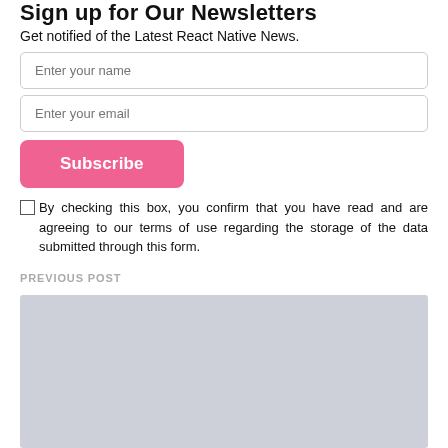Sign up for Our Newsletters
Get notified of the Latest React Native News.
Enter your name
Enter your email
Subscribe
By checking this box, you confirm that you have read and are agreeing to our terms of use regarding the storage of the data submitted through this form.
PREVIOUS POST
[Figure (photo): Gray placeholder image for previous post thumbnail]